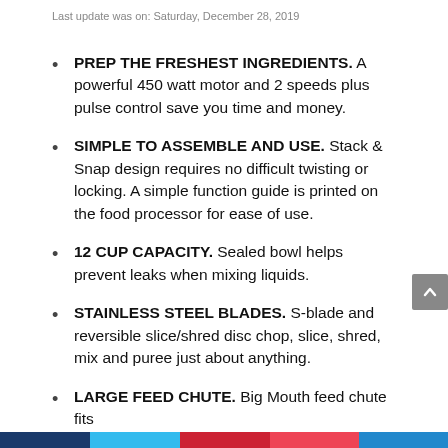Last update was on: Saturday, December 28, 2019
PREP THE FRESHEST INGREDIENTS. A powerful 450 watt motor and 2 speeds plus pulse control save you time and money.
SIMPLE TO ASSEMBLE AND USE. Stack & Snap design requires no difficult twisting or locking. A simple function guide is printed on the food processor for ease of use.
12 CUP CAPACITY. Sealed bowl helps prevent leaks when mixing liquids.
STAINLESS STEEL BLADES. S-blade and reversible slice/shred disc chop, slice, shred, mix and puree just about anything.
LARGE FEED CHUTE. Big Mouth feed chute fits